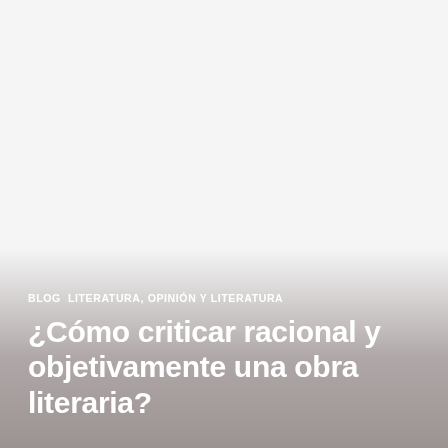[Figure (photo): White/light grey background image fading to a brownish-grey gradient at the bottom]
BLOG  LITERATURA, OPINIÓN Y LITERATURA
¿Cómo criticar racional y objetivamente una obra literaria?